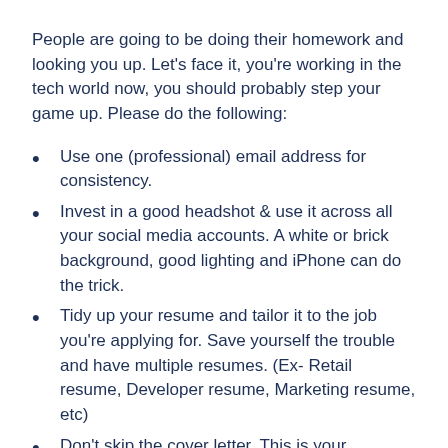People are going to be doing their homework and looking you up. Let's face it, you're working in the tech world now, you should probably step your game up. Please do the following:
Use one (professional) email address for consistency.
Invest in a good headshot & use it across all your social media accounts. A white or brick background, good lighting and iPhone can do the trick.
Tidy up your resume and tailor it to the job you're applying for. Save yourself the trouble and have multiple resumes. (Ex- Retail resume, Developer resume, Marketing resume, etc)
Don't skip the cover letter. This is your opportunity to show off your writing skills and